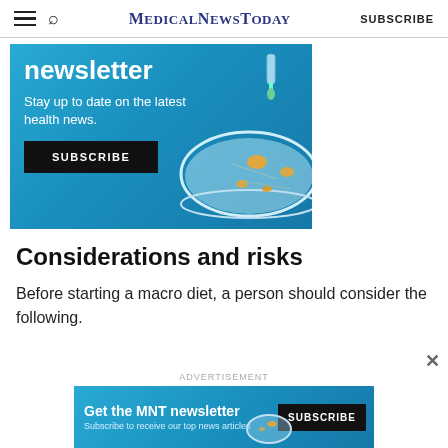MedicalNewsToday  SUBSCRIBE
[Figure (illustration): Newsletter advertisement banner with blue background showing a petri dish illustration and text: 'newsletter - Stay up to date on the latest health news.' with a SUBSCRIBE button]
Considerations and risks
Before starting a macro diet, a person should consider the following.
[Figure (illustration): Bottom advertisement banner: 'Get the MNT newsletter - Subscribe to receive our top news articles' with SUBSCRIBE button]